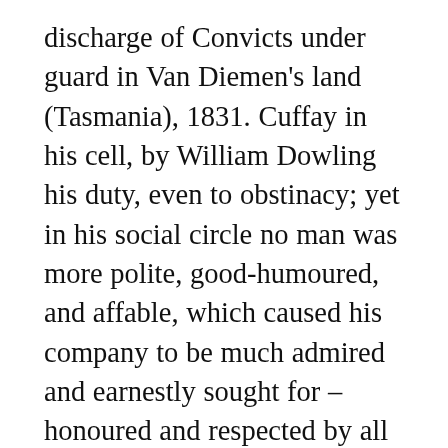discharge of Convicts under guard in Van Diemen's land (Tasmania), 1831. Cuffay in his cell, by William Dowling his duty, even to obstinacy; yet in his social circle no man was more polite, good-humoured, and affable, which caused his company to be much admired and earnestly sought for – honoured and respected by all who knew him ... Yes, Cuffay, should these lines ever meet thine eyes in thy far-distant home, yes, my friend, though